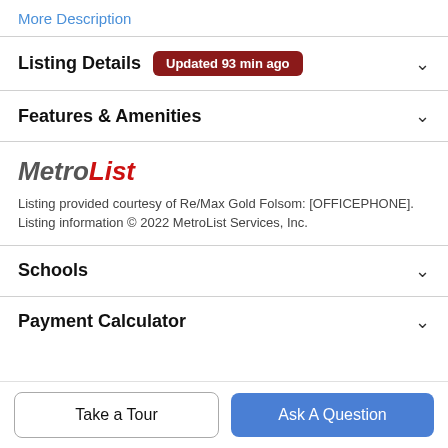More Description
Listing Details  Updated 93 min ago
Features & Amenities
[Figure (logo): MetroList logo in italic bold text, grey 'Metro' and red 'List']
Listing provided courtesy of Re/Max Gold Folsom: [OFFICEPHONE]. Listing information © 2022 MetroList Services, Inc.
Schools
Payment Calculator
Take a Tour
Ask A Question